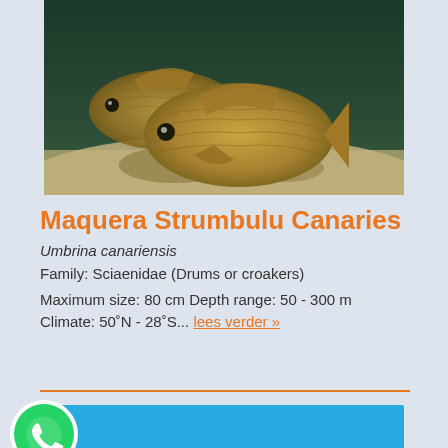[Figure (photo): Underwater photograph of two Maquera Strumbulu Canaries (Umbrina canariensis) fish swimming over sandy sea floor]
Maquera Strumbulu Canaries
Umbrina canariensis
Family: Sciaenidae (Drums or croakers)
Maximum size: 80 cm Depth range: 50 - 300 m Climate: 50˚N - 28˚S... lees verder »
[Figure (illustration): Blue panel at bottom of page]
[Figure (logo): WhatsApp green phone logo button]